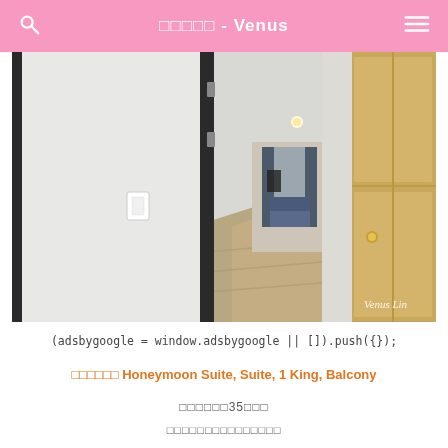□□□□□ - Venus
[Figure (photo): Interior hallway of a hotel suite, viewed from entrance. Left side shows white wall with light switch. Center shows long corridor with carpeted floor leading to a room with blue sofa and window curtains. Right side shows wooden wardrobe with gold handle and electronic keycard lock. Watermark reads 'Venus Lin' in bottom right.]
(adsbygoogle = window.adsbygoogle || []).push({});
□□□□□□ Honeymoon Suite, Suite, 1 King, Balcony
□□□□□□35□□□
□□□□□□□□□□□□□□□